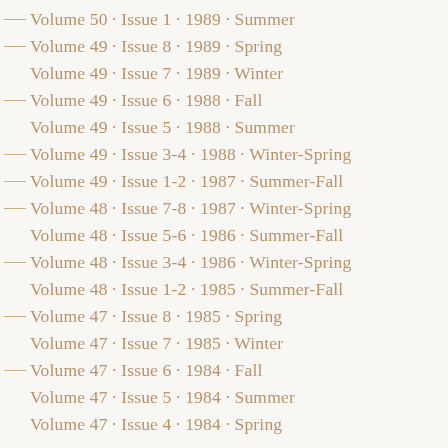Volume 50 · Issue 1 · 1989 · Summer
Volume 49 · Issue 8 · 1989 · Spring
Volume 49 · Issue 7 · 1989 · Winter
Volume 49 · Issue 6 · 1988 · Fall
Volume 49 · Issue 5 · 1988 · Summer
Volume 49 · Issue 3-4 · 1988 · Winter-Spring
Volume 49 · Issue 1-2 · 1987 · Summer-Fall
Volume 48 · Issue 7-8 · 1987 · Winter-Spring
Volume 48 · Issue 5-6 · 1986 · Summer-Fall
Volume 48 · Issue 3-4 · 1986 · Winter-Spring
Volume 48 · Issue 1-2 · 1985 · Summer-Fall
Volume 47 · Issue 8 · 1985 · Spring
Volume 47 · Issue 7 · 1985 · Winter
Volume 47 · Issue 6 · 1984 · Fall
Volume 47 · Issue 5 · 1984 · Summer
Volume 47 · Issue 4 · 1984 · Spring